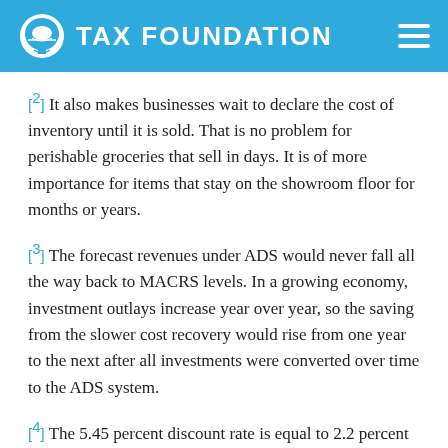TAX FOUNDATION
[2] It also makes businesses wait to declare the cost of inventory until it is sold. That is no problem for perishable groceries that sell in days. It is of more importance for items that stay on the showroom floor for months or years.
[3] The forecast revenues under ADS would never fall all the way back to MACRS levels. In a growing economy, investment outlays increase year over year, so the saving from the slower cost recovery would rise from one year to the next after all investments were converted over time to the ADS system.
[4] The 5.45 percent discount rate is equal to 2.2 percent forecast inflation plus a 3.25 percent long run real return to capital.